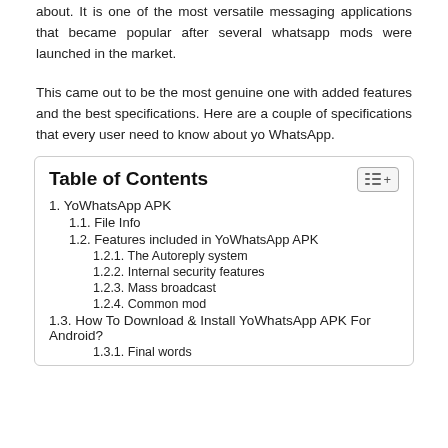about. It is one of the most versatile messaging applications that became popular after several whatsapp mods were launched in the market.
This came out to be the most genuine one with added features and the best specifications. Here are a couple of specifications that every user need to know about yo WhatsApp.
| 1. YoWhatsApp APK |
| 1.1. File Info |
| 1.2. Features included in YoWhatsApp APK |
| 1.2.1. The Autoreply system |
| 1.2.2. Internal security features |
| 1.2.3. Mass broadcast |
| 1.2.4. Common mod |
| 1.3. How To Download & Install YoWhatsApp APK For Android? |
| 1.3.1. Final words |